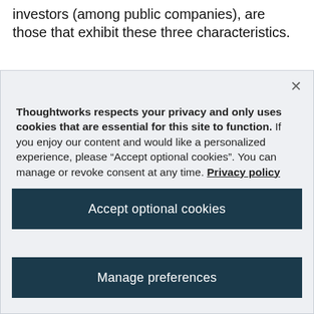investors (among public companies), are those that exhibit these three characteristics.
Thoughtworks respects your privacy and only uses cookies that are essential for this site to function. If you enjoy our content and would like a personalized experience, please “Accept optional cookies”. You can manage or revoke consent at any time. Privacy policy
Accept optional cookies
Manage preferences